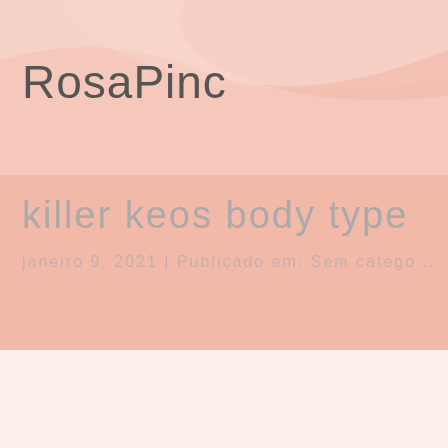RosaPinc
killer keos body type
janeiro 9, 2021 | Publicado em: Sem catego...
Home » Blog » Sem categoria » killer keos body type
Killer whales inhabit all oceans of the world. The largest measured penis reached 2... penis of a killer whale). That's why it's sometimes called a chemical messenger. Kil... stuck like this... :/. Documented sightings of killer whales indicated in dark blue. Typ... waters and pack ice and are most common in the eastern Antarctic. Rampage kille... both mass murderers and spree killers. 4. Keo has yet to update the v2 outfits to v3... exclusive music and merch from the Official The Killers Store. It carries enough ver... minutes and the bites are often painless, so many victims realize they have been b...